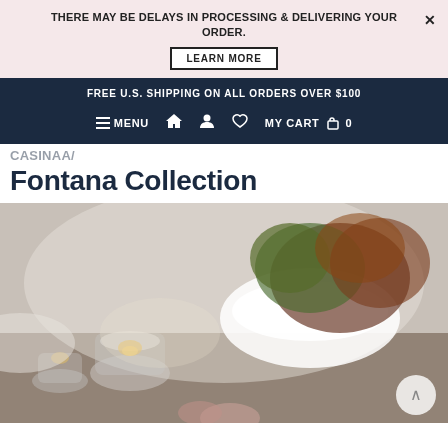THERE MAY BE DELAYS IN PROCESSING & DELIVERING YOUR ORDER.
LEARN MORE
FREE U.S. SHIPPING ON ALL ORDERS OVER $100
≡ MENU  ⌂  👤  ♡  MY CART 🛒 0
CASINAA / Fontana Collection
[Figure (photo): Blurred lifestyle photo of a table setting with glassware, candles, and a white bowl with succulents/botanical centerpiece arranged on a wooden surface]